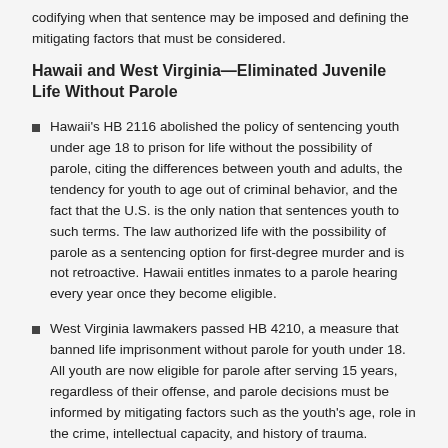codifying when that sentence may be imposed and defining the mitigating factors that must be considered.
Hawaii and West Virginia—Eliminated Juvenile Life Without Parole
Hawaii's HB 2116 abolished the policy of sentencing youth under age 18 to prison for life without the possibility of parole, citing the differences between youth and adults, the tendency for youth to age out of criminal behavior, and the fact that the U.S. is the only nation that sentences youth to such terms. The law authorized life with the possibility of parole as a sentencing option for first-degree murder and is not retroactive. Hawaii entitles inmates to a parole hearing every year once they become eligible.
West Virginia lawmakers passed HB 4210, a measure that banned life imprisonment without parole for youth under 18. All youth are now eligible for parole after serving 15 years, regardless of their offense, and parole decisions must be informed by mitigating factors such as the youth's age, role in the crime, intellectual capacity, and history of trauma. Further, the parole board must ensure that parole hearings provide a meaningful